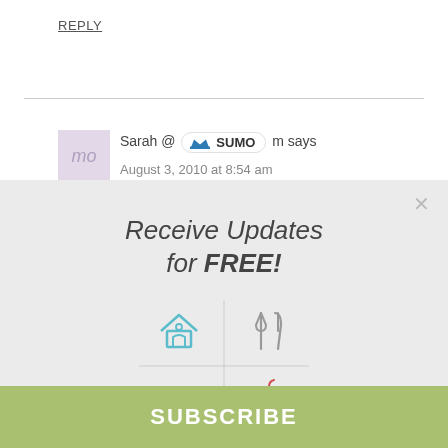REPLY
Sarah @ [SUMO] m says
August 3, 2010 at 8:54 am
[Figure (screenshot): Popup modal with 'Receive Updates for FREE!' title, four category icons (home, utensils, dumbbell, apple) in a 2x2 grid, and a green SUBSCRIBE button at the bottom]
Receive Updates for FREE!
SUBSCRIBE